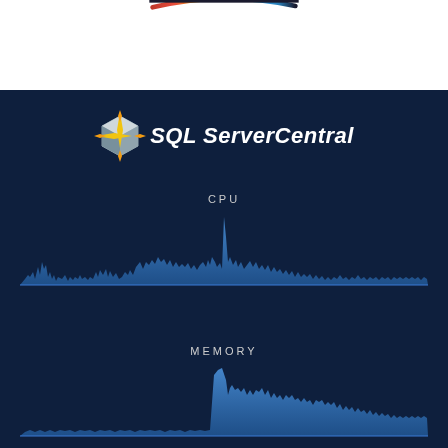[Figure (illustration): Rainbow arc gradient banner at top of page]
[Figure (logo): SQL ServerCentral logo with cube/star icon and italic bold text]
CPU
[Figure (continuous-plot): CPU usage area chart with spiky blue waveform on dark navy background, single tall spike in center-right area]
MEMORY
[Figure (continuous-plot): Memory usage area chart with blue area, low flat level on left then sharp rise to higher plateau on right half]